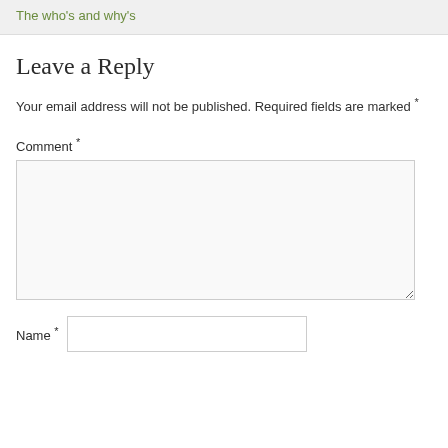The who's and why's
Leave a Reply
Your email address will not be published. Required fields are marked *
Comment *
Name *